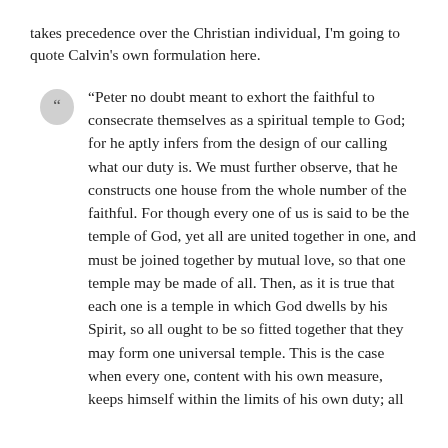takes precedence over the Christian individual, I'm going to quote Calvin's own formulation here.
“Peter no doubt meant to exhort the faithful to consecrate themselves as a spiritual temple to God; for he aptly infers from the design of our calling what our duty is. We must further observe, that he constructs one house from the whole number of the faithful. For though every one of us is said to be the temple of God, yet all are united together in one, and must be joined together by mutual love, so that one temple may be made of all. Then, as it is true that each one is a temple in which God dwells by his Spirit, so all ought to be so fitted together that they may form one universal temple. This is the case when every one, content with his own measure, keeps himself within the limits of his own duty; all